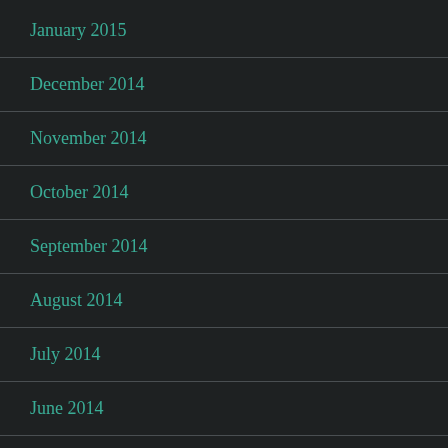January 2015
December 2014
November 2014
October 2014
September 2014
August 2014
July 2014
June 2014